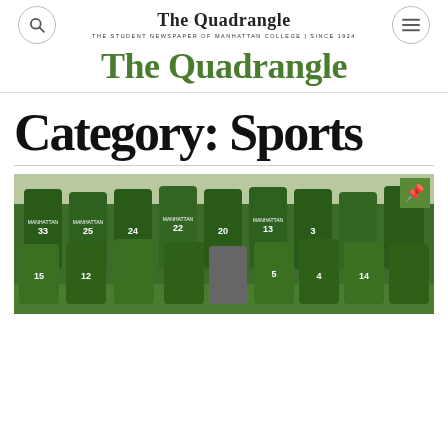The Quadrangle — THE STUDENT NEWSPAPER OF MANHATTAN COLLEGE | SINCE 1924
The Quadrangle
Category: Sports
[Figure (photo): Manhattan College women's basketball team photo, players wearing green Manhattan jerseys with numbers including 33, 25, 24, 22, 20, 13, 3, 15, 12, 5, 4, 14, with coach in center]